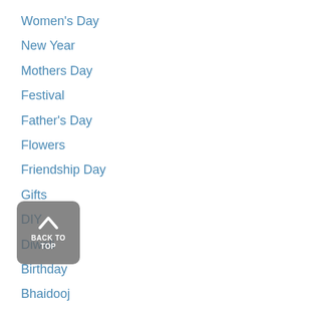Women's Day
New Year
Mothers Day
Festival
Father's Day
Flowers
Friendship Day
Gifts
DIY
Diwali
Birthday
Bhaidooj
Cakes
Childrens Day
Christmas
Gifts For Father